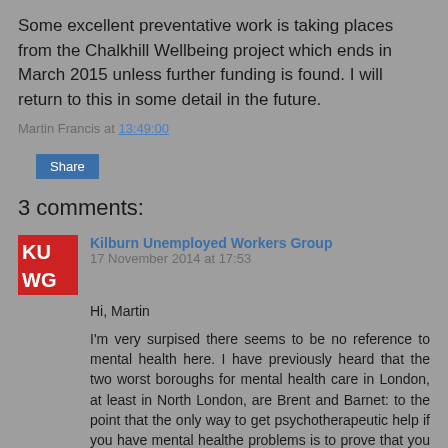Some excellent preventative work is taking places from the Chalkhill Wellbeing project which ends in March 2015 unless further funding is found. I will return to this in some detail in the future.
Martin Francis at 13:49:00
Share
3 comments:
Kilburn Unemployed Workers Group 17 November 2014 at 17:53
Hi, Martin

I'm very surpised there seems to be no reference to mental health here. I have previously heard that the two worst boroughs for mental health care in London, at least in North London, are Brent and Barnet: to the point that the only way to get psychotherapeutic help if you have mental healthe problems is to prove that you are a danger to other people rather than just to yourself.